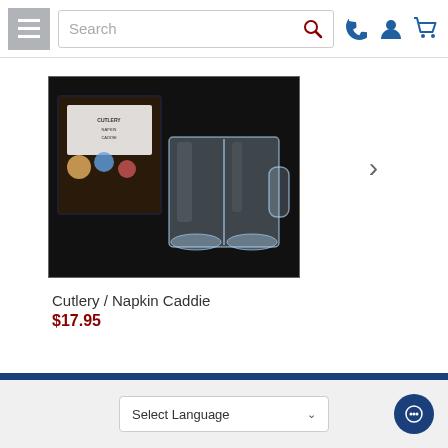[Figure (screenshot): Website header with hamburger menu icon, search bar with search icon, phone icon, user account icon, and shopping cart icon]
[Figure (photo): Product photo of a Cutlery / Napkin Caddie showing a clear acrylic organizer with multiple compartments and its product box]
Cutlery / Napkin Caddie
$17.95
[Figure (screenshot): Footer with Select Language dropdown and chat button]